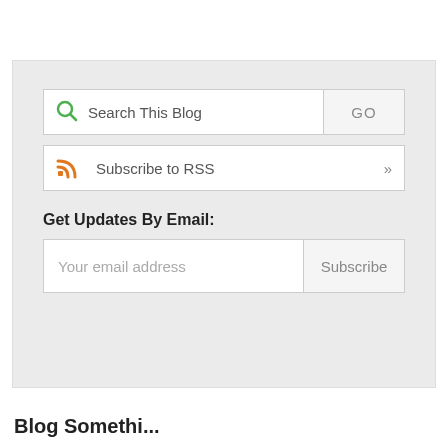Search This Blog | GO
Subscribe to RSS »
Get Updates By Email:
Your email address | Subscribe
Blog Somethi...